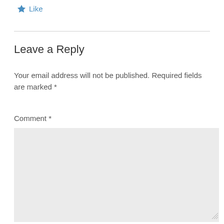Like
Leave a Reply
Your email address will not be published. Required fields are marked *
Comment *